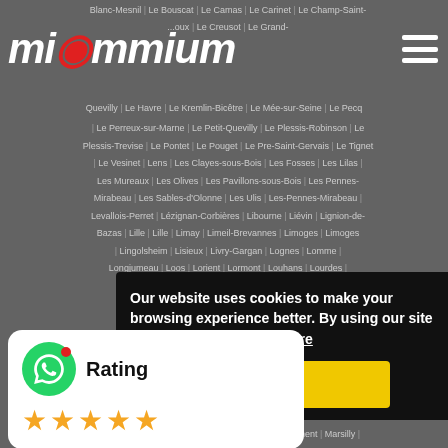[Figure (screenshot): Website screenshot of miummium.com showing a list of French city links on a dark grey background, a logo, a cookie consent banner, a WhatsApp rating widget, and a hamburger menu icon.]
Blanc-Mesnil | Le Bouscat | Le Camas | Le Carinet | Le Champ-Saint- | ...oux | Le Creusot | Le Grand- | Quevilly | Le Havre | Le Kremlin-Bicêtre | Le Mée-sur-Seine | Le Pecq
[Figure (logo): miummium logo in white italic bold text with a red dot above the letter o]
Le Perreux-sur-Marne | Le Petit-Quevilly | Le Plessis-Robinson | Le Plessis-Trevise | Le Pontet | Le Pouget | Le Pre-Saint-Gervais | Le Tignet | Le Vesinet | Lens | Les Clayes-sous-Bois | Les Fosses | Les Lilas | Les Mureaux | Les Olives | Les Pavillons-sous-Bois | Les Pennes-Mirabeau | Les Sables-d'Olonne | Les Ulis | Les-Pennes-Mirabeau | Levallois-Perret | Lézignan-Corbières | Libourne | Liévin | Lignion-de-Bazas | Lille | Lille | Limay | Limeil-Brevannes | Limoges | Limoges | Lingolsheim | Lisieux | Livry-Gargan | Lognes | Lomme | Longjumeau | Loos | Lorient | Lormont | Louhans | Lourdes
Our website uses cookies to make your browsing experience better. By using our site [you agree to our use] of cookies. Learn more
Yes
[Figure (infographic): WhatsApp rating widget: green circle with WhatsApp icon and red dot, Rating label, and 5 gold stars]
Marseille 15 | Marseille 16 | Marseille 7e arrondissement | Marsilly